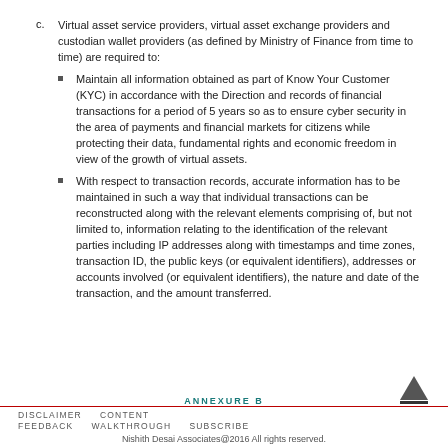c. Virtual asset service providers, virtual asset exchange providers and custodian wallet providers (as defined by Ministry of Finance from time to time) are required to:
Maintain all information obtained as part of Know Your Customer (KYC) in accordance with the Direction and records of financial transactions for a period of 5 years so as to ensure cyber security in the area of payments and financial markets for citizens while protecting their data, fundamental rights and economic freedom in view of the growth of virtual assets.
With respect to transaction records, accurate information has to be maintained in such a way that individual transactions can be reconstructed along with the relevant elements comprising of, but not limited to, information relating to the identification of the relevant parties including IP addresses along with timestamps and time zones, transaction ID, the public keys (or equivalent identifiers), addresses or accounts involved (or equivalent identifiers), the nature and date of the transaction, and the amount transferred.
ANNEXURE B
DISCLAIMER   CONTENT
FEEDBACK   WALKTHROUGH   SUBSCRIBE
Nishith Desai Associates@2016 All rights reserved.